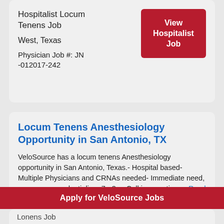Hospitalist Locum Tenens Job
West, Texas
Physician Job #: JN -012017-242
View Hospitalist Job
Locum Tenens Anesthesiology Opportunity in San Antonio, TX
VeloSource has a locum tenens Anesthesiology opportunity in San Antonio, Texas.- Hospital based- Multiple Physicians and CRNAs needed- Immediate need, emergency credentialing- 7a-3p - Call is an option-... Read More
Apply for VeloSource Jobs
Lonens Job